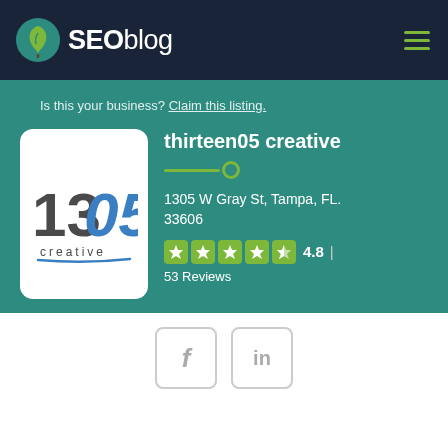[Figure (logo): SEOblog website header with leaf logo, 'SEOblog' text in white and bold, and hamburger menu icon on dark navy background]
Is this your business? Claim this listing.
[Figure (logo): thirteen05 creative company logo: '1305' numerals with blue '05' and 'creative' text below, on white rounded card]
thirteen05 creative
1305 W Gray St, Tampa, FL. 33606
4.8 | 53 Reviews
[Figure (other): Social media icons: Facebook (f) and LinkedIn (in) in rounded square outline boxes]